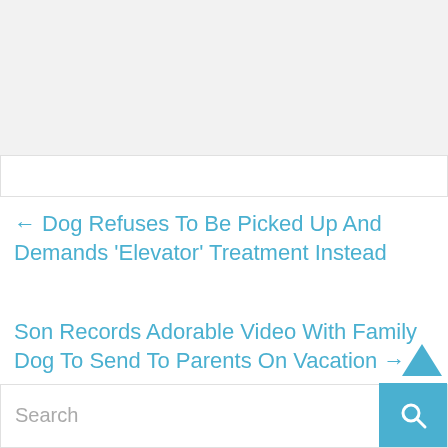← Dog Refuses To Be Picked Up And Demands 'Elevator' Treatment Instead
Son Records Adorable Video With Family Dog To Send To Parents On Vacation →
Search